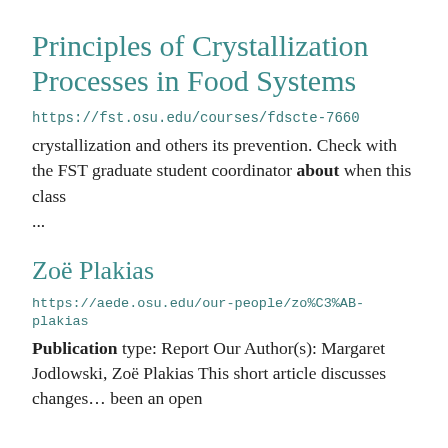Principles of Crystallization Processes in Food Systems
https://fst.osu.edu/courses/fdscte-7660
crystallization and others its prevention. Check with the FST graduate student coordinator about when this class ...
Zoë Plakias
https://aede.osu.edu/our-people/zo%C3%AB-plakias
Publication type: Report Our Author(s): Margaret Jodlowski, Zoë Plakias This short article discusses changes... been an open